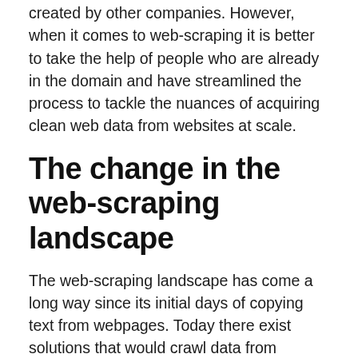created by other companies. However, when it comes to web-scraping it is better to take the help of people who are already in the domain and have streamlined the process to tackle the nuances of acquiring clean web data from websites at scale.
The change in the web-scraping landscape
The web-scraping landscape has come a long way since its initial days of copying text from webpages. Today there exist solutions that would crawl data from multiple web-pages and ensure a continuous data-stream for your company's needs. Data is being offered in the form of DaaS (Data as a service) where you can ask for the data points you